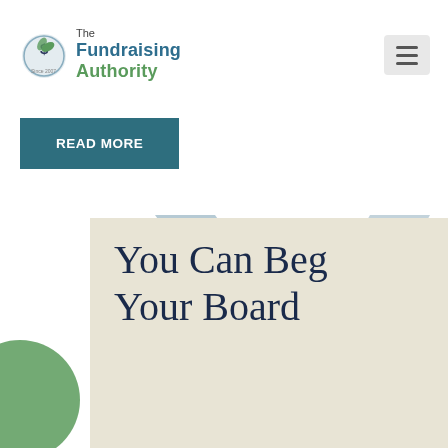[Figure (logo): The Fundraising Authority logo with leaf/money icon and green and blue text]
[Figure (other): Hamburger menu icon (three horizontal lines) in a light grey rounded square]
READ MORE
[Figure (illustration): Decorative background with large slate-blue ribbon/X shapes on white, green semi-circle on left, and beige/cream card overlay at bottom]
You Can Beg Your Board